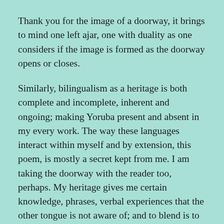Thank you for the image of a doorway, it brings to mind one left ajar, one with duality as one considers if the image is formed as the doorway opens or closes.
Similarly, bilingualism as a heritage is both complete and incomplete, inherent and ongoing; making Yoruba present and absent in my every work. The way these languages interact within myself and by extension, this poem, is mostly a secret kept from me. I am taking the doorway with the reader too, perhaps. My heritage gives me certain knowledge, phrases, verbal experiences that the other tongue is not aware of; and to blend is to split one tongue open and fill it with the wealth of another.
Yet, I know too little, but I can confess to something similar to Safia Elhillo's striking line "no language has